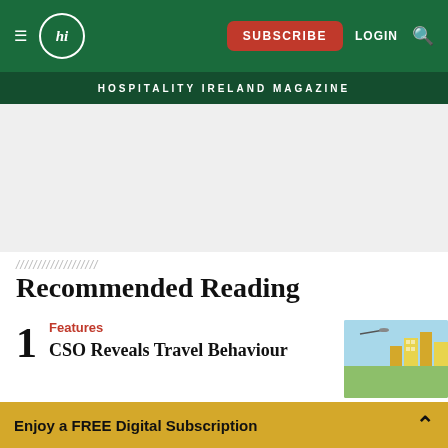hi SUBSCRIBE LOGIN [search]
HOSPITALITY IRELAND MAGAZINE
[Figure (other): Gray advertisement placeholder area]
Recommended Reading
1 Features — CSO Reveals Travel Behaviour
Enjoy a FREE Digital Subscription